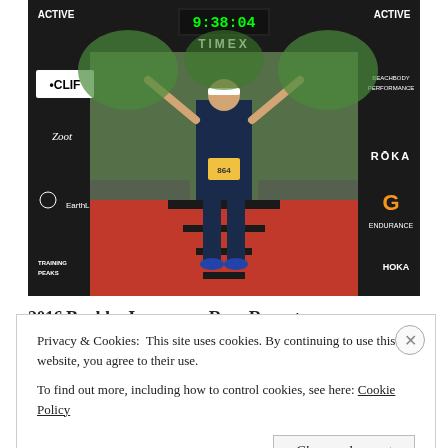[Figure (photo): Athlete crossing the finish line at the 2016 Boulder Ironman race. The finish arch shows a Timex clock reading 9:38:04. Sponsor logos visible include ACTIVE, CLIF, ZOOT, EarthLink, TrainingPeaks, Beachbody Performance, ROKA, G Endurance, and HOKA. Red and black finish carpet visible.]
2016 Boulder Ironman – Race Report
Privacy & Cookies: This site uses cookies. By continuing to use this website, you agree to their use.
To find out more, including how to control cookies, see here: Cookie Policy